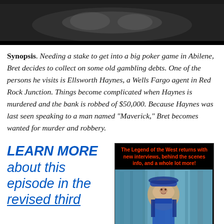[Figure (photo): Black and white photo showing figures, appears to be a scene from a TV western]
Synopsis. Needing a stake to get into a big poker game in Abilene, Bret decides to collect on some old gambling debts. One of the persons he visits is Ellsworth Haynes, a Wells Fargo agent in Red Rock Junction. Things become complicated when Haynes is murdered and the bank is robbed of $50,000. Because Haynes was last seen speaking to a man named “Maverick,” Bret becomes wanted for murder and robbery.
LEARN MORE about this episode in the revised third
[Figure (photo): Promotional image with text 'The Legend of the West returns with new interviews, behind the scenes info, and a whole lot more!' over an image of a man in a cowboy hat]